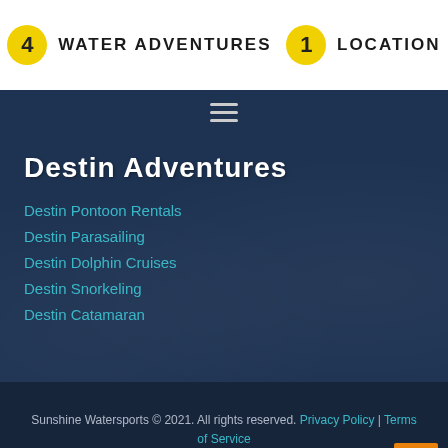4 Water Adventures 1 Location
Destin Adventures
Destin Pontoon Rentals
Destin Parasailing
Destin Dolphin Cruises
Destin Snorkeling
Destin Catamaran
Sunshine Watersports © 2021. All rights reserved. Privacy Policy | Terms of Service Web Design and Marketing by FiveChannels.com